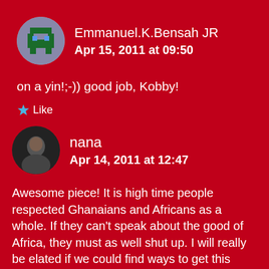Emmanuel.K.Bensah JR
Apr 15, 2011 at 09:50
on a yin!;-)) good job, Kobby!
Like
nana
Apr 14, 2011 at 12:47
Awesome piece! It is high time people respected Ghanaians and Africans as a whole. If they can't speak about the good of Africa, they must as well shut up. I will really be elated if we could find ways to get this article on cnn.com. Anyways, there is one thing I want to know. Did our ministers of information say anything about the article? I think I